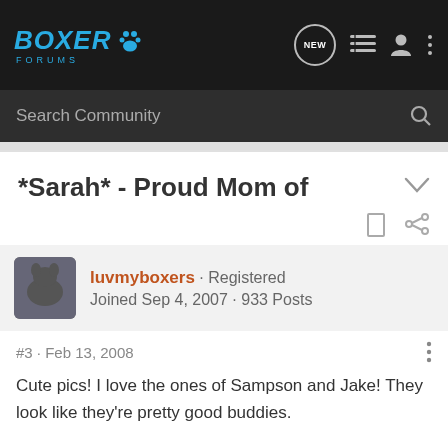Boxer Forums
Search Community
*Sarah* - Proud Mom of
luvmyboxers · Registered
Joined Sep 4, 2007 · 933 Posts
#3 · Feb 13, 2008
Cute pics!  I love the ones of Sampson and Jake!  They look like they're pretty good buddies.